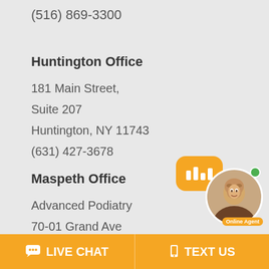(516) 869-3300
Huntington Office
181 Main Street,
Suite 207
Huntington, NY 11743
(631) 427-3678
Maspeth Office
Advanced Podiatry
70-01 Grand Ave
Maspeth, NY 11378
(718) 639-0499
[Figure (illustration): Online chat agent widget showing orange speech bubble with bar chart icon, circular photo of male agent, green online indicator dot, and 'Online Agent' label]
💬 LIVE CHAT
📱 TEXT US